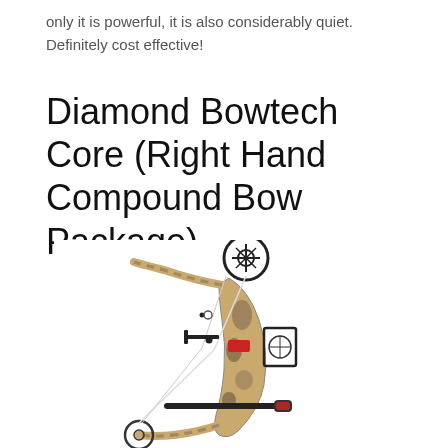only it is powerful, it is also considerably quiet. Definitely cost effective!
Diamond Bowtech Core (Right Hand Compound Bow Package)
[Figure (photo): Photo of a Diamond Bowtech Core Right Hand Compound Bow Package with camouflage finish, showing the cam wheel at top, bowstring, arrow rest, sight, stabilizer bar, and limbs against a white background.]